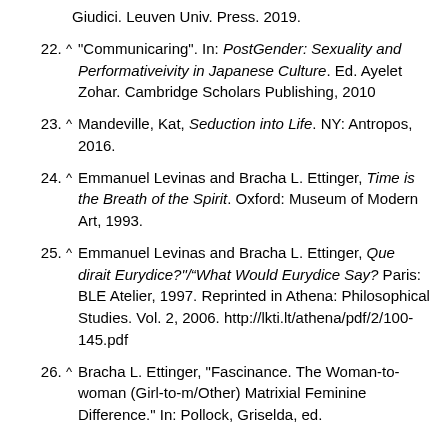Giudici. Leuven Univ. Press. 2019.
22. ^ "Communicaring". In: PostGender: Sexuality and Performativeivity in Japanese Culture. Ed. Ayelet Zohar. Cambridge Scholars Publishing, 2010
23. ^ Mandeville, Kat, Seduction into Life. NY: Antropos, 2016.
24. ^ Emmanuel Levinas and Bracha L. Ettinger, Time is the Breath of the Spirit. Oxford: Museum of Modern Art, 1993.
25. ^ Emmanuel Levinas and Bracha L. Ettinger, Que dirait Eurydice?"/"What Would Eurydice Say? Paris: BLE Atelier, 1997. Reprinted in Athena: Philosophical Studies. Vol. 2, 2006. http://lkti.lt/athena/pdf/2/100-145.pdf
26. ^ Bracha L. Ettinger, "Fascinance. The Woman-to-woman (Girl-to-m/Other) Matrixial Feminine Difference." In: Pollock, Griselda, ed.